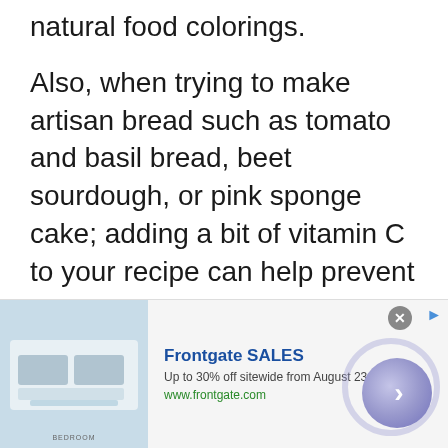natural food colorings.
Also, when trying to make artisan bread such as tomato and basil bread, beet sourdough, or pink sponge cake; adding a bit of vitamin C to your recipe can help prevent color degradation and browning and stabilize and preserve the vibrant colors of the ingredients.
[Figure (other): Frontgate SALES advertisement banner: 'Up to 30% off sitewide from August 23-25', www.frontgate.com, with a bedroom furniture image, a close button, and a navigation arrow button.]